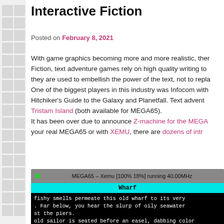Interactive Fiction
Posted on February 8, 2021
With game graphics becoming more and more realistic, ther... Fiction, text adventure games rely on high quality writing to... they are used to embellish the power of the text, not to repla... One of the biggest players in this industry was Infocom with... Hitchiker's Guide to the Galaxy and Planetfall. Text advent... Tristam Island (both available for MEGA65). It has been over due to announce Z-machine for the MEGA... your real MEGA65 or with XEMU, there are dozens of intr...
[Figure (screenshot): Screenshot of MEGA65 Xemu emulator running at 40.00MHz showing a text adventure game. A cyan status bar reads 'Wharf'. The terminal shows text about a wharf location with fishy smells, oily seawater, piers, an old sailor at an easel dabbing color on a canvas.]